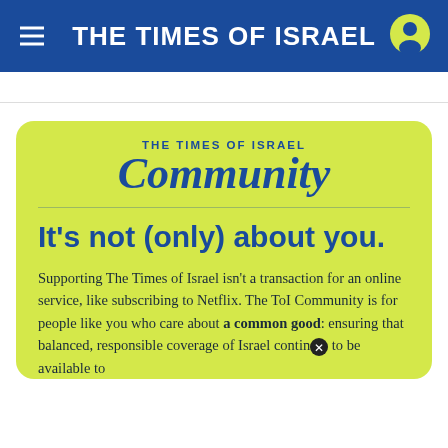THE TIMES OF ISRAEL
[Figure (logo): The Times of Israel Community logo with italic 'Community' text on yellow-green background]
It's not (only) about you.
Supporting The Times of Israel isn't a transaction for an online service, like subscribing to Netflix. The ToI Community is for people like you who care about a common good: ensuring that balanced, responsible coverage of Israel continues to be available to